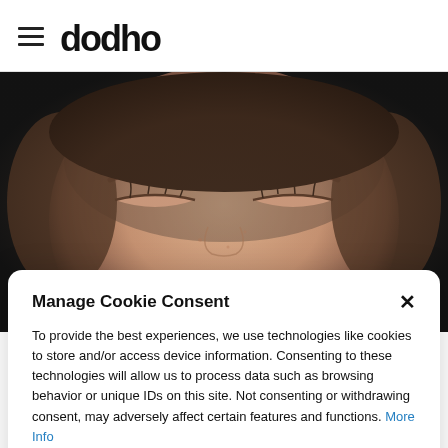dodho
[Figure (photo): Close-up of a woman's face with eyes closed against a dark background]
Manage Cookie Consent
To provide the best experiences, we use technologies like cookies to store and/or access device information. Consenting to these technologies will allow us to process data such as browsing behavior or unique IDs on this site. Not consenting or withdrawing consent, may adversely affect certain features and functions. More Info
Accept